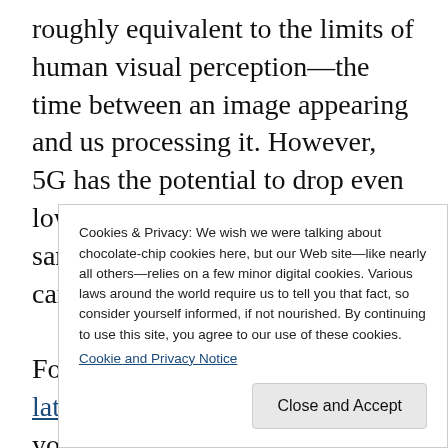roughly equivalent to the limits of human visual perception—the time between an image appearing and us processing it. However, 5G has the potential to drop even lower, down to 1 ms, which is the same latency that wired Ethernet can achieve.
For interactive purposes, high latency is a killer: it's what makes you see or hear a lag when [partial text visible]
Cookies & Privacy: We wish we were talking about chocolate-chip cookies here, but our Web site—like nearly all others—relies on a few minor digital cookies. Various laws around the world require us to tell you that fact, so consider yourself informed, if not nourished. By continuing to use this site, you agree to our use of these cookies. Cookie and Privacy Notice [Close and Accept button]